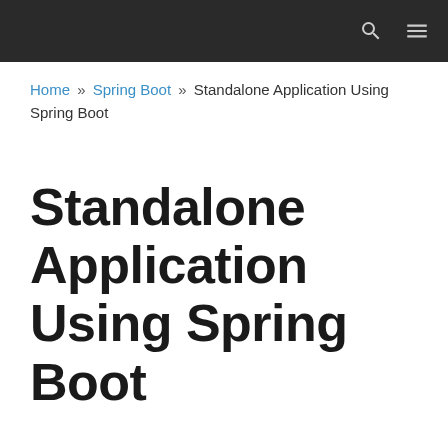Navigation bar with search and menu icons
Home » Spring Boot » Standalone Application Using Spring Boot
Standalone Application Using Spring Boot